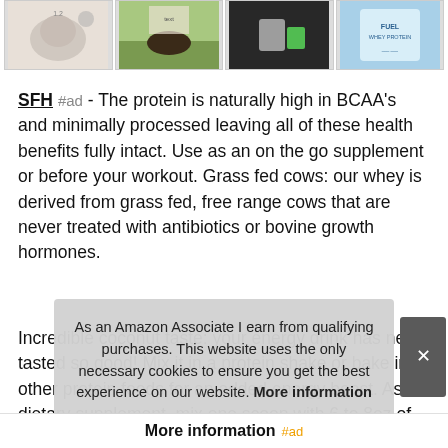[Figure (photo): Strip of four product thumbnail images: white protein powder container, cow in field, measuring cup with green lid, blue whey protein package]
SFH #ad - The protein is naturally high in BCAA's and minimally processed leaving all of these health benefits fully intact. Use as an on the go supplement or before your workout. Grass fed cows: our whey is derived from grass fed, free range cows that are never treated with antibiotics or bovine growth hormones.
Incredible coconut taste: your energy drink has never tasted so good! Mix it in a protein shake or bake into other protein foods for an added energy boost. As a dietary supplement, mix one scoop with 6 to 8oz of water or your favorite beverage. Add no g day.
As an Amazon Associate I earn from qualifying purchases. This website uses the only necessary cookies to ensure you get the best experience on our website. More information
More information #ad